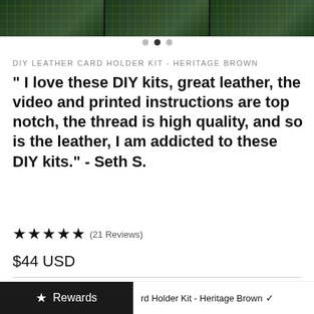[Figure (photo): Green cutting mat background with grid lines, shown as a strip image carousel]
DIY LEATHER CARD HOLDER KIT - HERITAGE BROWN
" I love these DIY kits, great leather, the video and printed instructions are top notch, the thread is high quality, and so is the leather, I am addicted to these DIY kits." - Seth S.
★★★★★ (21 Reviews)
$44 USD
COLORS
★ Rewards
rd Holder Kit - Heritage Brown ✓